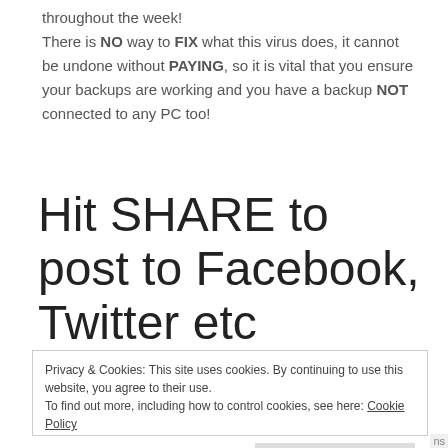throughout the week! There is NO way to FIX what this virus does, it cannot be undone without PAYING, so it is vital that you ensure your backups are working and you have a backup NOT connected to any PC too!
Hit SHARE to post to Facebook, Twitter etc
Privacy & Cookies: This site uses cookies. By continuing to use this website, you agree to their use.
To find out more, including how to control cookies, see here: Cookie Policy
Close and accept